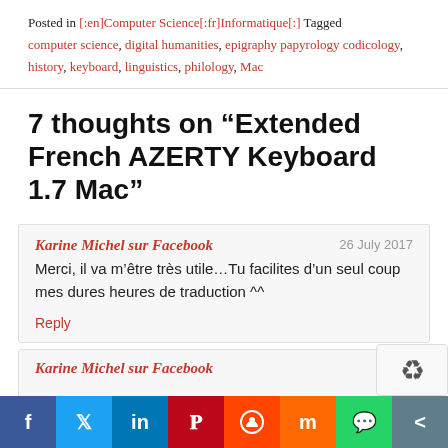Posted in [:en]Computer Science[:fr]Informatique[:] Tagged computer science, digital humanities, epigraphy papyrology codicology, history, keyboard, linguistics, philology, Mac
7 thoughts on “Extended French AZERTY Keyboard 1.7 Mac”
Karine Michel sur Facebook — 26 July 2017 — Merci, il va m’être très utile…Tu facilites d’un seul coup mes dures heures de traduction ^^
Reply
Karine Michel sur Facebook — 26 Jul